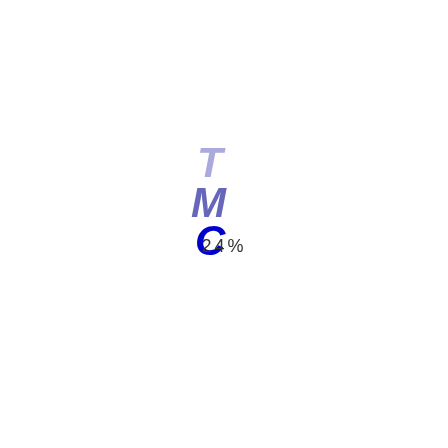[Figure (logo): TMC logo with stylized italic bold letters stacked vertically: T in light periwinkle, M in medium blue-purple, C in dark navy blue]
24%